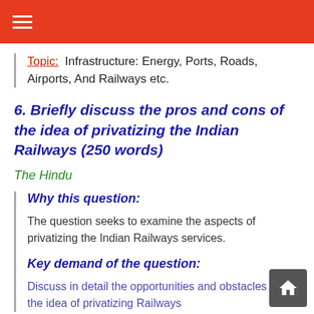☰
Topic: Infrastructure: Energy, Ports, Roads, Airports, And Railways etc.
6. Briefly discuss the pros and cons of the idea of privatizing the Indian Railways (250 words)
The Hindu
Why this question:
The question seeks to examine the aspects of privatizing the Indian Railways services.
Key demand of the question:
Discuss in detail the opportunities and obstacles that the idea of privatizing Railways